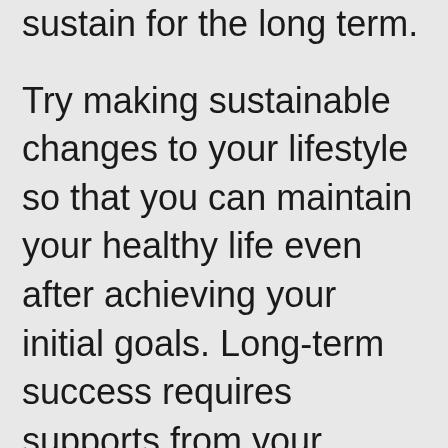that you can generally sustain for the long term.
Try making sustainable changes to your lifestyle so that you can maintain your healthy life even after achieving your initial goals. Long-term success requires supports from your family and friends. This may take some time. You're different.